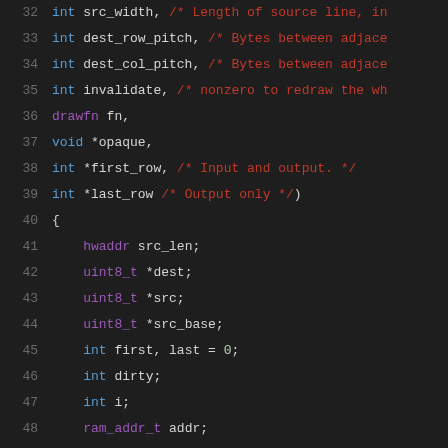[Figure (screenshot): Source code listing in dark-themed code editor showing lines 32-52 of a C function, with line numbers in grey on the left, keywords in blue, types in purple, and comments in dark red.]